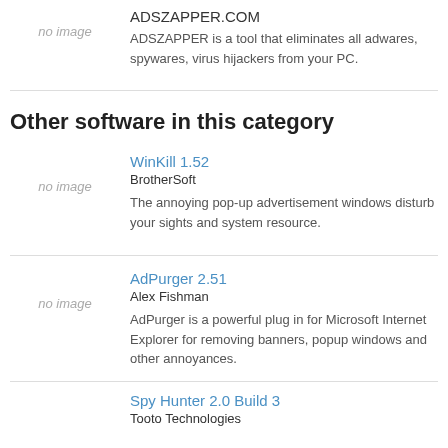ADSZAPPER.COM
[Figure (other): no image placeholder for ADSZAPPER]
ADSZAPPER is a tool that eliminates all adwares, spywares, virus hijackers from your PC.
Other software in this category
WinKill 1.52
BrotherSoft
[Figure (other): no image placeholder for WinKill]
The annoying pop-up advertisement windows disturb your sights and system resource.
AdPurger 2.51
Alex Fishman
[Figure (other): no image placeholder for AdPurger]
AdPurger is a powerful plug in for Microsoft Internet Explorer for removing banners, popup windows and other annoyances.
Spy Hunter 2.0 Build 3
Tooto Technologies